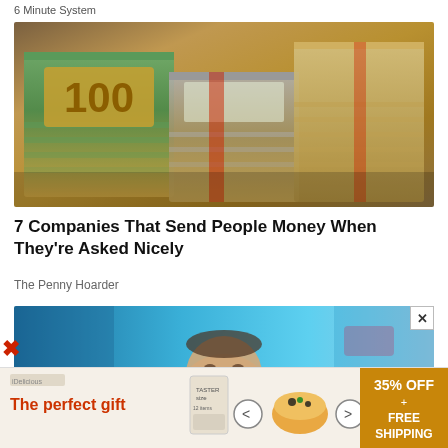6 Minute System
[Figure (photo): Stacks of bundled US $100 dollar bills piled on top of each other]
7 Companies That Send People Money When They're Asked Nicely
The Penny Hoarder
[Figure (photo): Man's face peering over something with a blue background]
[Figure (infographic): Advertisement banner: The perfect gift – 35% OFF + FREE SHIPPING with food product images and navigation arrows]